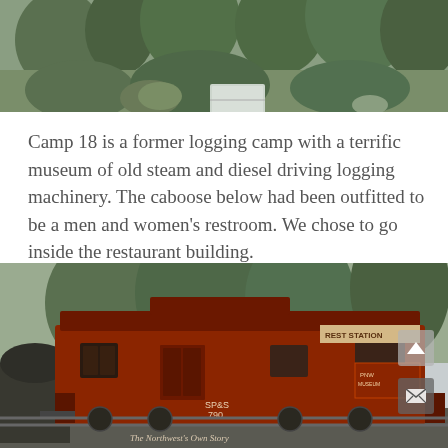[Figure (photo): Outdoor scene with trees, shrubs, moss-covered rocks, and a metal box or container in the foreground. Overcast sky visible.]
Camp 18 is a former logging camp with a terrific museum of old steam and diesel driving logging machinery. The caboose below had been outfitted to be a men and women's restroom. We chose to go inside the restaurant building.
[Figure (photo): A red caboose rail car repurposed as a restroom station, with signs reading 'REST STATION' and 'SP&S 790' and 'The Northwest's Own Story'. Trees visible in the background. Overcast sky.]